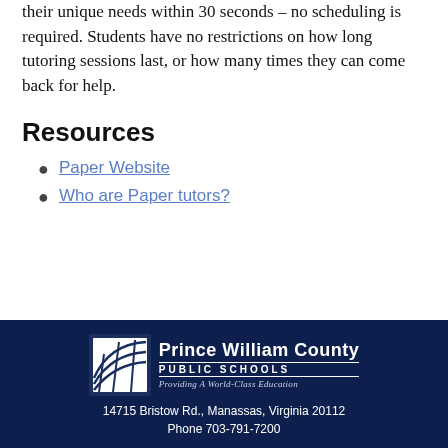their unique needs within 30 seconds – no scheduling is required. Students have no restrictions on how long tutoring sessions last, or how many times they can come back for help.
Resources
Paper Website
Who are Paper tutors?
14715 Bristow Rd., Manassas, Virginia 20112 Phone 703-791-7200